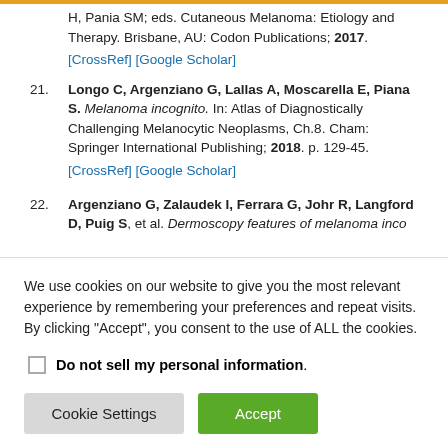H, Pania SM, eds. Cutaneous Melanoma: Etiology and Therapy. Brisbane, AU: Codon Publications; 2017. [CrossRef] [Google Scholar]
21. Longo C, Argenziano G, Lallas A, Moscarella E, Piana S. Melanoma incognito. In: Atlas of Diagnostically Challenging Melanocytic Neoplasms, Ch.8. Cham: Springer International Publishing; 2018. p. 129-45. [CrossRef] [Google Scholar]
22. Argenziano G, Zalaudek I, Ferrara G, Johr R, Langford D, Puig S, et al. Dermoscopy features of melanoma inco...
We use cookies on our website to give you the most relevant experience by remembering your preferences and repeat visits. By clicking "Accept", you consent to the use of ALL the cookies.
Do not sell my personal information.
Cookie Settings  Accept